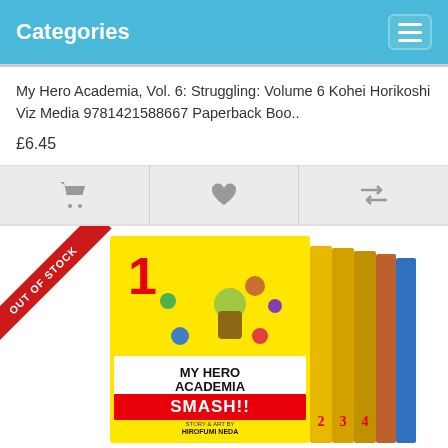Categories
My Hero Academia, Vol. 6: Struggling: Volume 6 Kohei Horikoshi Viz Media 9781421588667 Paperback Boo..
£6.45
[Figure (photo): My Hero Academia Smash!! manga box set volumes 1-5, yellow cover with characters, with OUT OF STOCK ribbon]